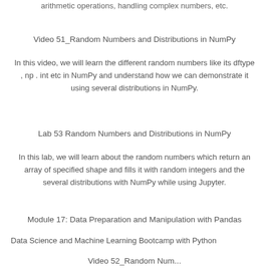arithmetic operations, handling complex numbers, etc.
Video 51_Random Numbers and Distributions in NumPy
In this video, we will learn the different random numbers like its dftype , np . int etc in NumPy and understand how we can demonstrate it using several distributions in NumPy.
Lab 53 Random Numbers and Distributions in NumPy
In this lab, we will learn about the random numbers which return an array of specified shape and fills it with random integers and the several distributions with NumPy while using Jupyter.
Module 17: Data Preparation and Manipulation with Pandas
Data Science and Machine Learning Bootcamp with Python
Video 52_Random Numbers and...